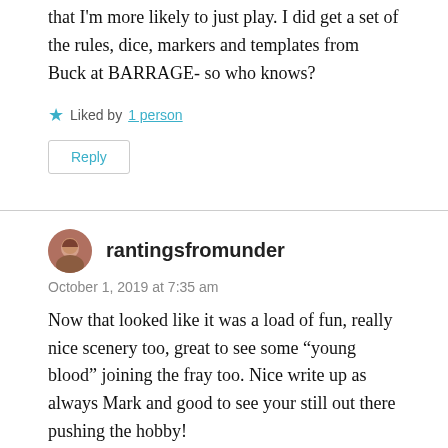that I'm more likely to just play. I did get a set of the rules, dice, markers and templates from Buck at BARRAGE- so who knows?
Liked by 1 person
Reply
rantingsfromunder
October 1, 2019 at 7:35 am
Now that looked like it was a load of fun, really nice scenery too, great to see some “young blood” joining the fray too. Nice write up as always Mark and good to see your still out there pushing the hobby!